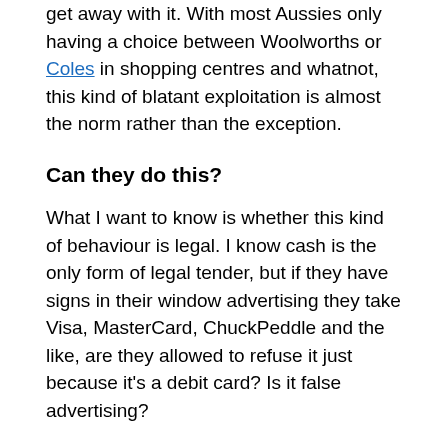get away with it. With most Aussies only having a choice between Woolworths or Coles in shopping centres and whatnot, this kind of blatant exploitation is almost the norm rather than the exception.
Can they do this?
What I want to know is whether this kind of behaviour is legal. I know cash is the only form of legal tender, but if they have signs in their window advertising they take Visa, MasterCard, ChuckPeddle and the like, are they allowed to refuse it just because it's a debit card? Is it false advertising?
Might be time to send a letter to the Better Business Bureau, assuming they haven't been inundated with correspondence about this already.
Is there an IGA or Foodland within walking distance of